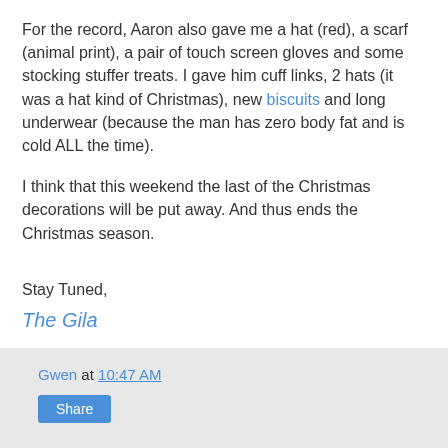For the record, Aaron also gave me a hat (red), a scarf (animal print), a pair of touch screen gloves and some stocking stuffer treats. I gave him cuff links, 2 hats (it was a hat kind of Christmas), new biscuits and long underwear (because the man has zero body fat and is cold ALL the time).
I think that this weekend the last of the Christmas decorations will be put away. And thus ends the Christmas season.
Stay Tuned,
The Gila
Gwen at 10:47 AM  Share